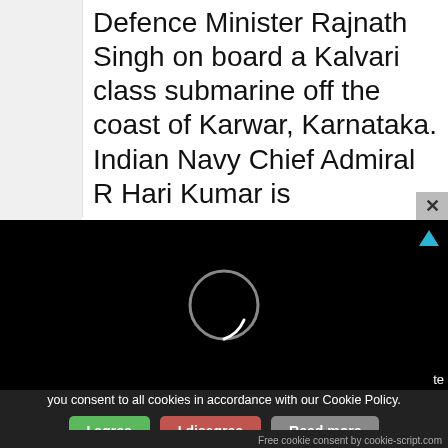Defence Minister Rajnath Singh on board a Kalvari class submarine off the coast of Karwar, Karnataka. Indian Navy Chief Admiral R Hari Kumar is
[Figure (screenshot): Black video player area with a loading spinner (circle) in the center and a teal triangle icon in the top-right corner. Partial text 'te' visible at bottom right.]
you consent to all cookies in accordance with our Cookie Policy.
I agree
I disagree
Read more
Free cookie consent by cookie-script.com